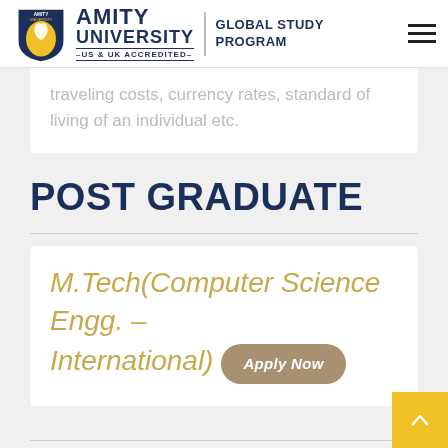[Figure (logo): Amity University Global Study Program logo with shield emblem, university name, US & UK Accredited text, and hamburger menu icon]
traveling costs, currency rates, standard of living of an individual etc.
POST GRADUATE
M.Tech(Computer Science Engg. – International)
Apply Now